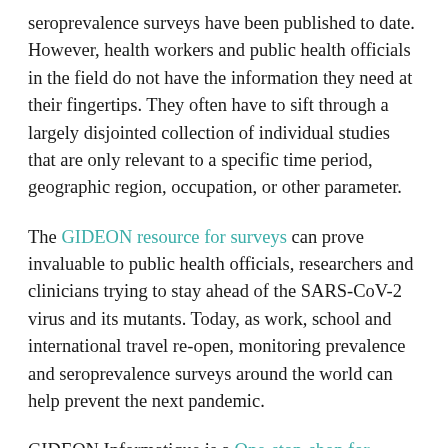seroprevalence surveys have been published to date. However, health workers and public health officials in the field do not have the information they need at their fingertips. They often have to sift through a largely disjointed collection of individual studies that are only relevant to a specific time period, geographic region, occupation, or other parameter.
The GIDEON resource for surveys can prove invaluable to public health officials, researchers and clinicians trying to stay ahead of the SARS-CoV-2 virus and its mutants. Today, as work, school and international travel re-open, monitoring prevalence and seroprevalence surveys around the world can help prevent the next pandemic.
GIDEON Informatique is a One-stop-shop for infectious disease data. Users can find interactive maps of over 25,000 current and historical infectious disease outbreaks dating back to the early 1900s. The database is updated daily and contains epidemiological and clinical information on over 360 infectious